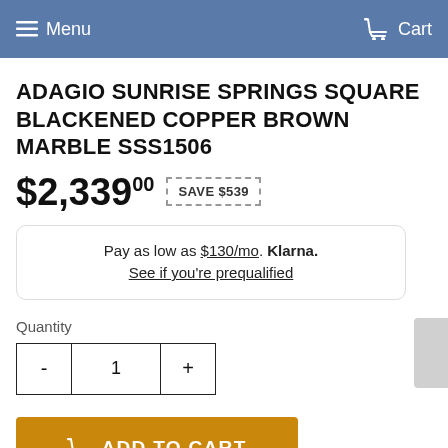Menu  Cart
ADAGIO SUNRISE SPRINGS SQUARE BLACKENED COPPER BROWN MARBLE SSS1506
$2,339.00  SAVE $539
Pay as low as $130/mo. Klarna. See if you're prequalified
Quantity
- 1 +
ADD TO CART